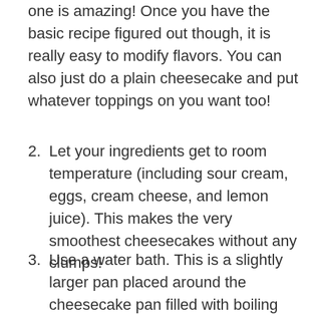one is amazing! Once you have the basic recipe figured out though, it is really easy to modify flavors. You can also just do a plain cheesecake and put whatever toppings on you want too!
2. Let your ingredients get to room temperature (including sour cream, eggs, cream cheese, and lemon juice). This makes the very smoothest cheesecakes without any clumps!
3. Use a water bath. This is a slightly larger pan placed around the cheesecake pan filled with boiling water as you put it in the oven. This prevents the cheesecake from cracking. Do you HAVE to do a water bath? Nope! A cracked cheesecake taste just as